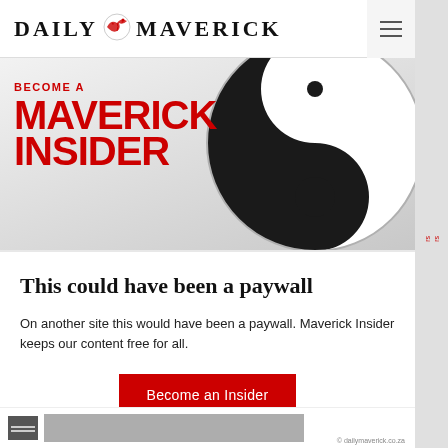DAILY MAVERICK
[Figure (logo): Daily Maverick logo with stylized bird/eagle emblem between DAILY and MAVERICK text]
[Figure (illustration): Large black and white circular swirl/yin-yang style graphic on grey gradient background]
BECOME A
MAVERICK
INSIDER
This could have been a paywall
On another site this would have been a paywall. Maverick Insider keeps our content free for all.
Become an Insider